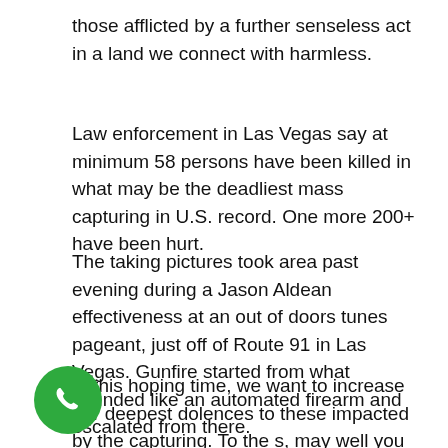those afflicted by a further senseless act in a land we connect with harmless.
Law enforcement in Las Vegas say at minimum 58 persons have been killed in what may be the deadliest mass capturing in U.S. record. One more 200+ have been hurt.
The taking pictures took area past evening during a Jason Aldean effectiveness at an out of doors tunes pageant, just off of Route 91 in Las Vegas. Gunfire started from what sounded like an automated firearm and escalated from there.
In this hoping time, we want to increase our deepest dolences to these impacted by the capturing. To the s, may well you relaxation peacefully.
[Figure (illustration): Green circular phone call button icon in the bottom-left area of the page.]